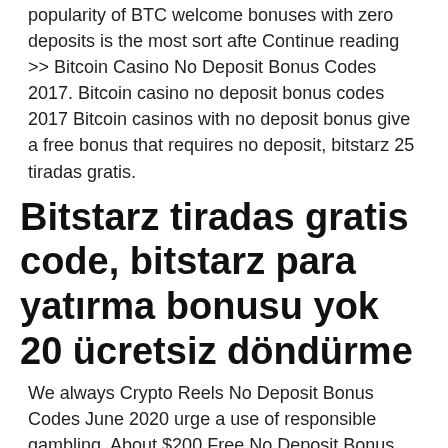popularity of BTC welcome bonuses with zero deposits is the most sort afte Continue reading >> Bitcoin Casino No Deposit Bonus Codes 2017. Bitcoin casino no deposit bonus codes 2017 Bitcoin casinos with no deposit bonus give a free bonus that requires no deposit, bitstarz 25 tiradas gratis.
Bitstarz tiradas gratis code, bitstarz para yatırma bonusu yok 20 ücretsiz döndürme
We always Crypto Reels No Deposit Bonus Codes June 2020 urge a use of responsible gambling. About $200 Free No Deposit Bonus. Free $200 bonuses for new clients. Today, there is an abundance of online casinos, as they become very popular among many